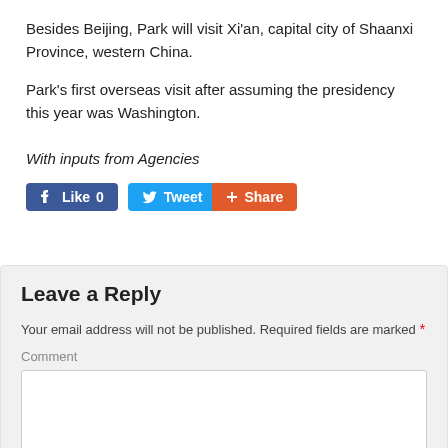Besides Beijing, Park will visit Xi'an, capital city of Shaanxi Province, western China.
Park's first overseas visit after assuming the presidency this year was Washington.
With inputs from Agencies
[Figure (screenshot): Social media buttons: Facebook Like (0), Twitter Tweet, and Share]
Leave a Reply
Your email address will not be published. Required fields are marked *
Comment